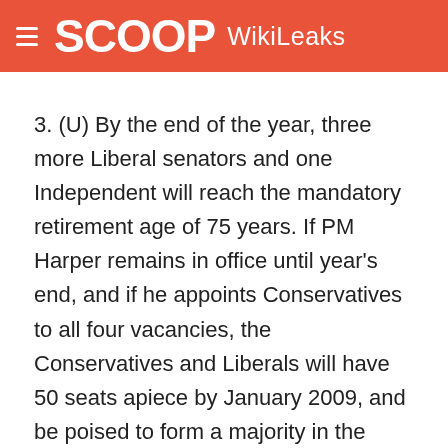SCOOP WikiLeaks
3. (U) By the end of the year, three more Liberal senators and one Independent will reach the mandatory retirement age of 75 years. If PM Harper remains in office until year's end, and if he appoints Conservatives to all four vacancies, the Conservatives and Liberals will have 50 seats apiece by January 2009, and be poised to form a majority in the upper house.